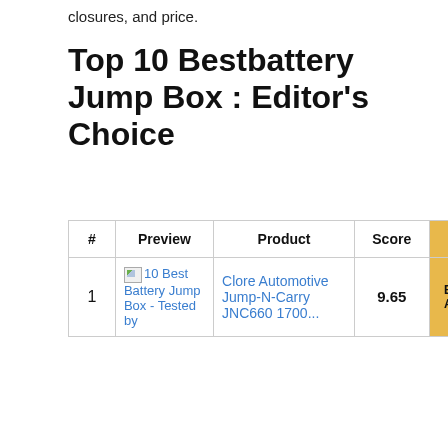closures, and price.
Top 10 Bestbattery Jump Box : Editor's Choice
| # | Preview | Product | Score |  |
| --- | --- | --- | --- | --- |
| 1 | 10 Best Battery Jump Box - Tested by | Clore Automotive Jump-N-Carry JNC660 1700... | 9.65 | B A |